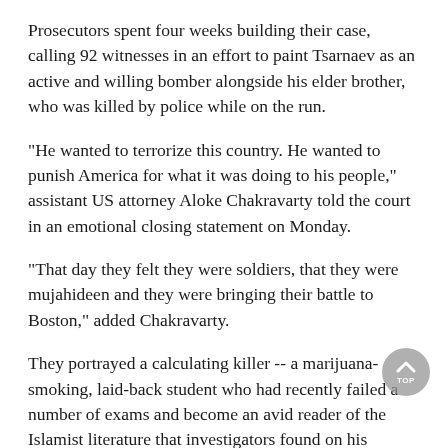Prosecutors spent four weeks building their case, calling 92 witnesses in an effort to paint Tsarnaev as an active and willing bomber alongside his elder brother, who was killed by police while on the run.
"He wanted to terrorize this country. He wanted to punish America for what it was doing to his people," assistant US attorney Aloke Chakravarty told the court in an emotional closing statement on Monday.
"That day they felt they were soldiers, that they were mujahideen and they were bringing their battle to Boston," added Chakravarty.
They portrayed a calculating killer -- a marijuana-smoking, laid-back student who had recently failed a number of exams and become an avid reader of the Islamist literature that investigators found on his computer.
They claimed he was self-radicalized as early as high school, plotted the attacks up to a year in advance and was influenced by the teachings of US-Yemen cleric Anwar al-Awlaki, who was killed in a drone strike in 2011.
The one-month trial featured harrowing videos, filling the court